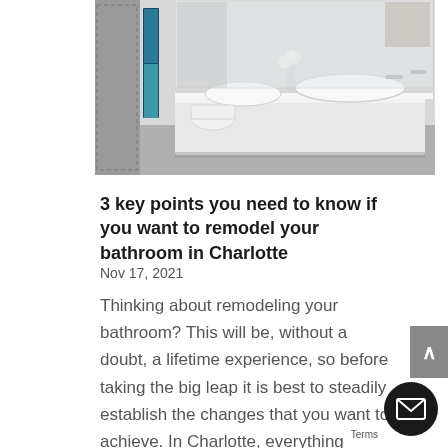[Figure (photo): Modern white bathroom with double sink vanity, wall-mounted faucets, white orchid flowers, large mirror, and a glass shower enclosure with a narrow window. Grey tiled floor and white cabinetry.]
3 key points you need to know if you want to remodel your bathroom in Charlotte
Nov 17, 2021
Thinking about remodeling your bathroom? This will be, without a doubt, a lifetime experience, so before taking the big leap it is best to steadily establish the changes that you want to achieve. In Charlotte, everything related to construction and remodeling is…